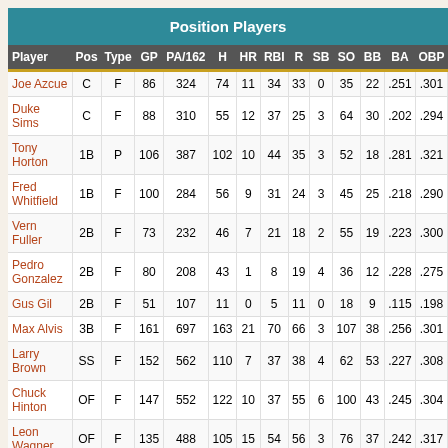Position Players
| Player | Pos | Type | GP | PA/162 | H | HR | RBI | R | SB | SO | BB | BA | OBP |
| --- | --- | --- | --- | --- | --- | --- | --- | --- | --- | --- | --- | --- | --- |
| Joe Azcue | C | F | 86 | 324 | 74 | 11 | 34 | 33 | 0 | 35 | 22 | .251 | .301 |
| Duke Sims | C | F | 88 | 310 | 55 | 12 | 37 | 25 | 3 | 64 | 30 | .202 | .294 |
| Tony Horton | 1B | P | 106 | 387 | 102 | 10 | 44 | 35 | 3 | 52 | 18 | .281 | .321 |
| Fred Whitfield | 1B | F | 100 | 284 | 56 | 9 | 31 | 24 | 3 | 45 | 25 | .218 | .290 |
| Vern Fuller | 2B | F | 73 | 232 | 46 | 7 | 21 | 18 | 2 | 55 | 19 | .223 | .300 |
| Pedro Gonzalez | 2B | F | 80 | 208 | 43 | 1 | 8 | 19 | 4 | 36 | 12 | .228 | .275 |
| Gus Gil | 2B | F | 51 | 107 | 11 | 0 | 5 | 11 | 0 | 18 | 9 | .115 | .198 |
| Max Alvis | 3B | F | 161 | 697 | 163 | 21 | 70 | 66 | 3 | 107 | 38 | .256 | .301 |
| Larry Brown | SS | F | 152 | 562 | 110 | 7 | 37 | 38 | 4 | 62 | 53 | .227 | .308 |
| Chuck Hinton | OF | F | 147 | 552 | 122 | 10 | 37 | 55 | 6 | 100 | 43 | .245 | .304 |
| Leon Wagner | OF | F | 135 | 488 | 105 | 15 | 54 | 56 | 3 | 76 | 37 | .242 | .317 |
| Vic ... | OF | F | 139 | 375 | 103 | 2 | 22 | 47 | 6 | 30 | 10 | .287 | .307 |